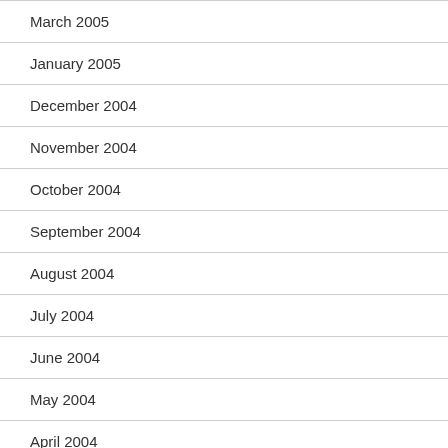March 2005
January 2005
December 2004
November 2004
October 2004
September 2004
August 2004
July 2004
June 2004
May 2004
April 2004